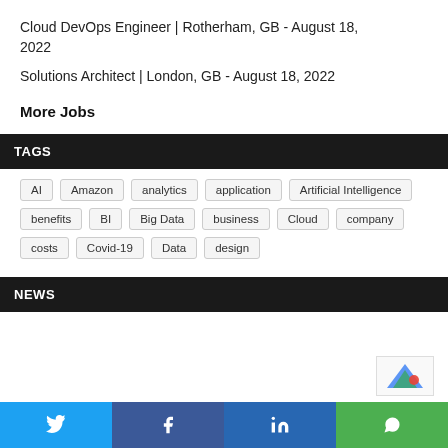Cloud DevOps Engineer | Rotherham, GB - August 18, 2022
Solutions Architect | London, GB - August 18, 2022
More Jobs
TAGS
AI  Amazon  analytics  application  Artificial Intelligence  benefits  BI  Big Data  business  Cloud  company  costs  Covid-19  Data  design
NEWS
Share buttons: Twitter, Facebook, LinkedIn, WhatsApp